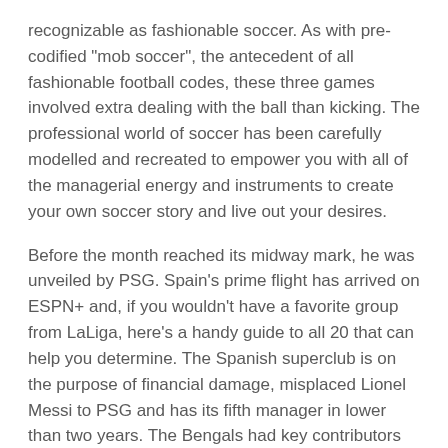recognizable as fashionable soccer. As with pre-codified "mob soccer", the antecedent of all fashionable football codes, these three games involved extra dealing with the ball than kicking. The professional world of soccer has been carefully modelled and recreated to empower you with all of the managerial energy and instruments to create your own soccer story and live out your desires.
Before the month reached its midway mark, he was unveiled by PSG. Spain's prime flight has arrived on ESPN+ and, if you wouldn't have a favorite group from LaLiga, here's a handy guide to all 20 that can help you determine. The Spanish superclub is on the purpose of financial damage, misplaced Lionel Messi to PSG and has its fifth manager in lower than two years. The Bengals had key contributors throughout their road to Super Bowl LVI join the group by way of free agent signings. With the 2021 season within the books and free agency upon us, Bucky Brooks takes a look at last yr's signings and identifies the top 10 strikes. Antonio Conte said